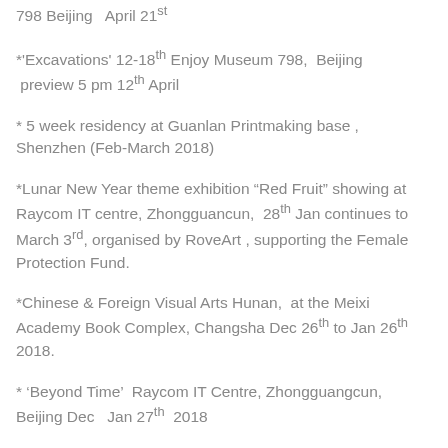798 Beijing  April 21st
*'Excavations' 12-18th Enjoy Museum 798,  Beijing  preview 5 pm 12th April
* 5 week residency at Guanlan Printmaking base , Shenzhen (Feb-March 2018)
*Lunar New Year theme exhibition “Red Fruit” showing at Raycom IT centre, Zhongguancun,  28th Jan continues to March 3rd, organised by RoveArt , supporting the Female Protection Fund.
*Chinese & Foreign Visual Arts Hunan,  at the Meixi Academy Book Complex, Changsha Dec 26th to Jan 26th 2018.
* ‘Beyond Time’  Raycom IT Centre, Zhongguangcun, Beijing Dec   Jan 27th  2018